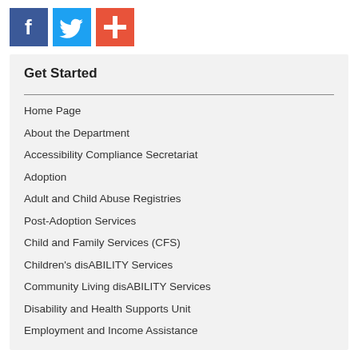[Figure (other): Three social media icons: Facebook (dark blue), Twitter (light blue), and a red plus/share button]
Get Started
Home Page
About the Department
Accessibility Compliance Secretariat
Adoption
Adult and Child Abuse Registries
Post-Adoption Services
Child and Family Services (CFS)
Children's disABILITY Services
Community Living disABILITY Services
Disability and Health Supports Unit
Employment and Income Assistance